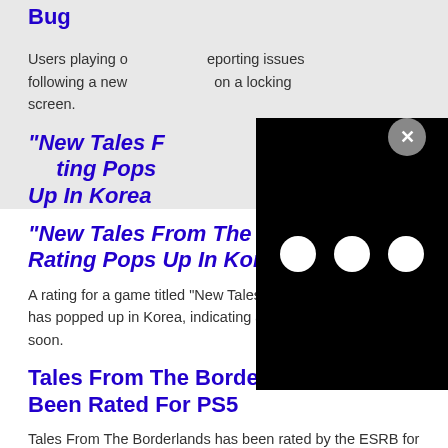Following New Update, Including Booting Screen Bug
Users playing on ... reporting issues following a new ... on a locking screen.
[Figure (other): Black modal overlay with three white dots (loading indicator) and a grey X close button]
“New Tales F... ...ting Pops Up In Korea
A rating for a game titled “New Tales From The Borderlands” has popped up in Korea, indicating a reveal could be coming soon.
Tales From The Borderlands Has Been Rated For PS5
Tales From The Borderlands has been rated by the ESRB for PS5, indicating that it could be released or announced sometime soon.